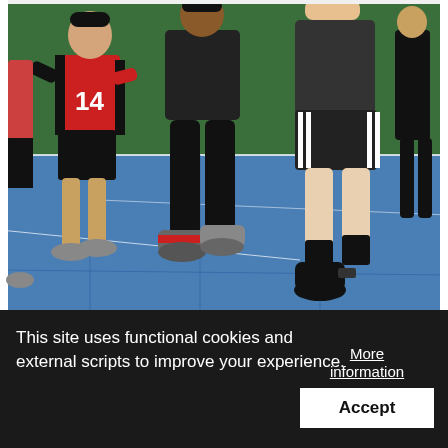[Figure (photo): Basketball or indoor sport activity photo showing players in action on a blue court floor. A player wearing a red bib with number 14 is visible on the left. Center player drives forward wearing black tights. Another player in black shorts with white stripes on the right is airborne. Green turf wall in background.]
The Ol'Aces 1's Andrew Omelau, center, drives against CTSI's Logan Mister during
This site uses functional cookies and external scripts to improve your experience.
More information
Accept